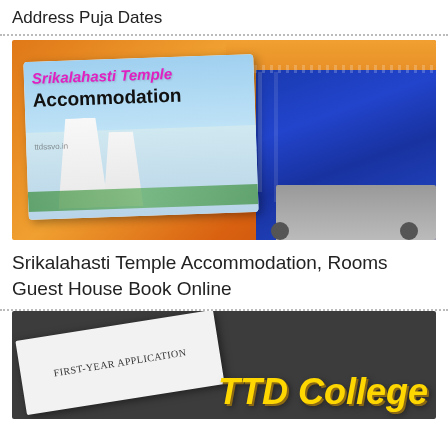Address Puja Dates
[Figure (photo): Srikalahasti Temple Accommodation promotional image showing a card with temple photograph overlaid on a background showing a blue illuminated temple tower at night with an orange sky]
Srikalahasti Temple Accommodation, Rooms Guest House Book Online
[Figure (photo): Dark background image with a tilted white paper showing 'FIRST-YEAR APPLICATION' text and a yellow bold text 'TTD College' on the right side]